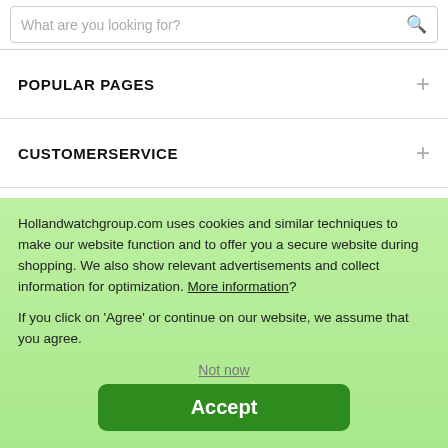What are you looking for?
POPULAR PAGES
CUSTOMERSERVICE
ABOUT HOLLANDWATCHGROUP.COM
Hollandwatchgroup.com uses cookies and similar techniques to make our website function and to offer you a secure website during shopping. We also show relevant advertisements and collect information for optimization. More information?
If you click on 'Agree' or continue on our website, we assume that you agree.
Not now
Accept